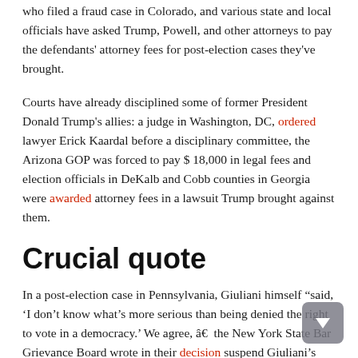who filed a fraud case in Colorado, and various state and local officials have asked Trump, Powell, and other attorneys to pay the defendants' attorney fees for post-election cases they've brought.
Courts have already disciplined some of former President Donald Trump's allies: a judge in Washington, DC, ordered lawyer Erick Kaardal before a disciplinary committee, the Arizona GOP was forced to pay $ 18,000 in legal fees and election officials in DeKalb and Cobb counties in Georgia were awarded attorney fees in a lawsuit Trump brought against them.
Crucial quote
In a post-election case in Pennsylvania, Giuliani himself “said, ‘I don’t know what’s more serious than being denied the right to vote in a democracy.’ We agree, â€ the New York State Bar Grievance Board wrote in their decision suspend Giuliani’s license. “This is the very reason why disseminating false factual information to large segments of the public as a means of discrediting the rights of legitimate voters is so immediately damaging and justifies a temporary suspension from the practice of law.”